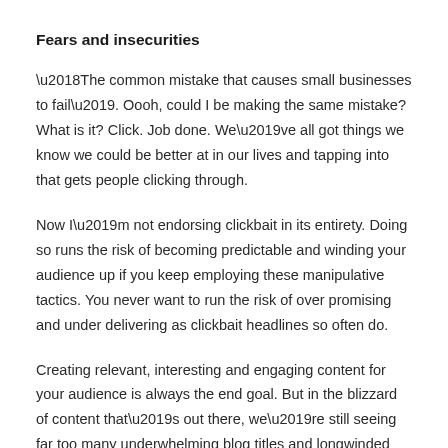Fears and insecurities
‘The common mistake that causes small businesses to fail’. Oooh, could I be making the same mistake? What is it? Click. Job done. We’ve all got things we know we could be better at in our lives and tapping into that gets people clicking through.
Now I’m not endorsing clickbait in its entirety. Doing so runs the risk of becoming predictable and winding your audience up if you keep employing these manipulative tactics. You never want to run the risk of over promising and under delivering as clickbait headlines so often do.
Creating relevant, interesting and engaging content for your audience is always the end goal. But in the blizzard of content that’s out there, we’re still seeing far too many underwhelming blog titles and longwinded social media posts.